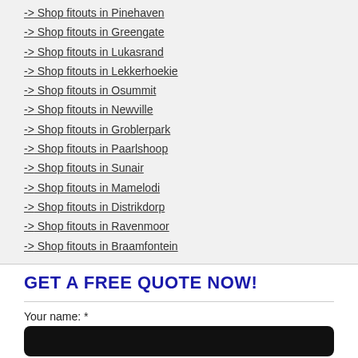-> Shop fitouts in Pinehaven
-> Shop fitouts in Greengate
-> Shop fitouts in Lukasrand
-> Shop fitouts in Lekkerhoekie
-> Shop fitouts in Osummit
-> Shop fitouts in Newville
-> Shop fitouts in Groblerpark
-> Shop fitouts in Paarlshoop
-> Shop fitouts in Sunair
-> Shop fitouts in Mamelodi
-> Shop fitouts in Distrikdorp
-> Shop fitouts in Ravenmoor
-> Shop fitouts in Braamfontein
GET A FREE QUOTE NOW!
Your name: *
Your email: